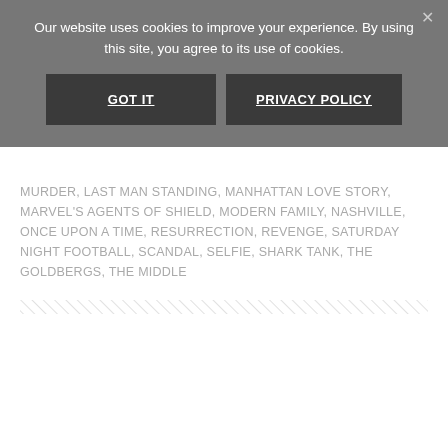Our website uses cookies to improve your experience. By using this site, you agree to its use of cookies.
GOT IT
PRIVACY POLICY
MURDER, LAST MAN STANDING, MANHATTAN LOVE STORY, MARVEL'S AGENTS OF SHIELD, MODERN FAMILY, NASHVILLE, ONCE UPON A TIME, RESURRECTION, REVENGE, SATURDAY NIGHT FOOTBALL, SCANDAL, SELFIE, SHARK TANK, THE GOLDBERGS, THE MIDDLE